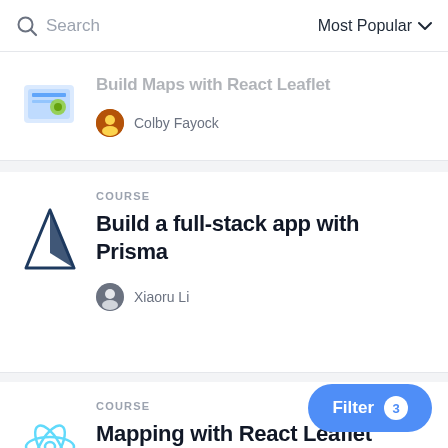Search | Most Popular
Build Maps with React Leaflet
Colby Fayock
COURSE
Build a full-stack app with Prisma
Xiaoru Li
COURSE
Mapping with React Leaflet
Colby Fayock